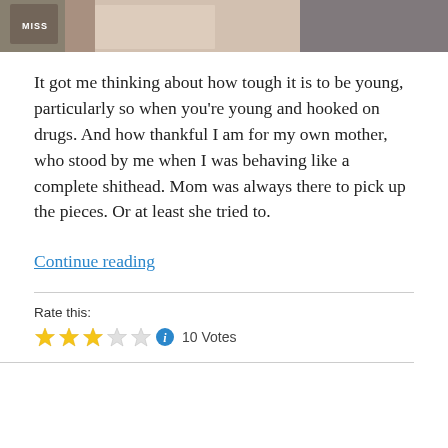[Figure (photo): Partial photo strip showing people, cropped at top of page]
It got me thinking about how tough it is to be young, particularly so when you're young and hooked on drugs. And how thankful I am for my own mother, who stood by me when I was behaving like a complete shithead. Mom was always there to pick up the pieces. Or at least she tried to.
Continue reading
Rate this:
10 Votes